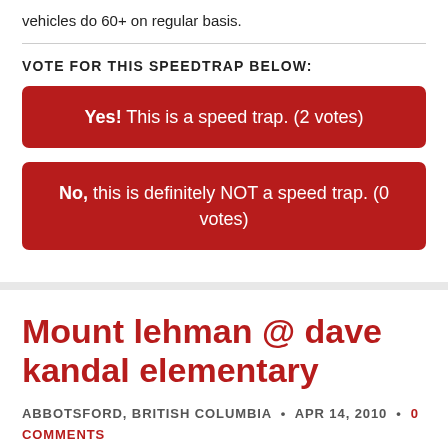vehicles do 60+ on regular basis.
VOTE FOR THIS SPEEDTRAP BELOW:
Yes! This is a speed trap. (2 votes)
No, this is definitely NOT a speed trap. (0 votes)
Mount lehman @ dave kandal elementary
ABBOTSFORD, BRITISH COLUMBIA • APR 14, 2010 • 0 COMMENTS